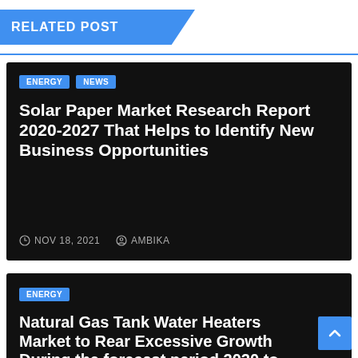RELATED POST
Solar Paper Market Research Report 2020-2027 That Helps to Identify New Business Opportunities
NOV 18, 2021   AMBIKA
Natural Gas Tank Water Heaters Market to Rear Excessive Growth During the forecast period 2020 to 2027